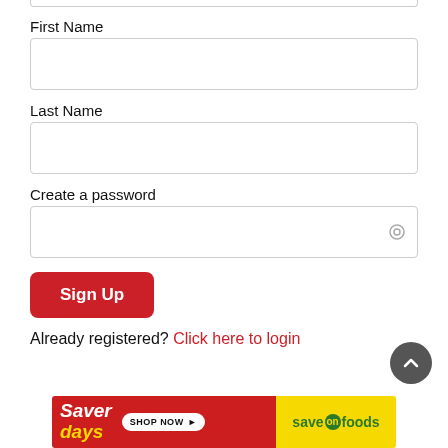First Name
Last Name
Create a password
Sign Up
Already registered? Click here to login
[Figure (screenshot): Saver days SHOP NOW banner advertisement for Save On Foods]